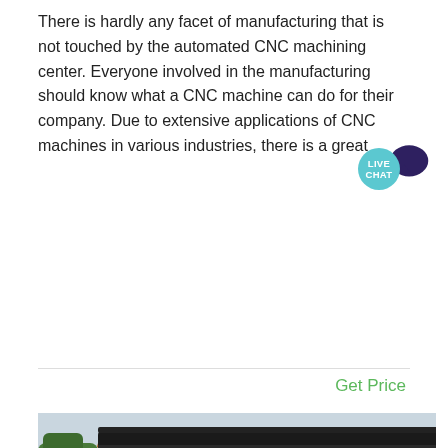There is hardly any facet of manufacturing that is not touched by the automated CNC machining center. Everyone involved in the manufacturing should know what a CNC machine can do for their company. Due to extensive applications of CNC machines in various industries, there is a great ...
Get Price
[Figure (photo): Outdoor industrial mining equipment scene showing conveyor belts, crusher machinery with orange/rust steel frame structures, and a 'MINING EQUIPMENT' logo banner at the bottom right.]